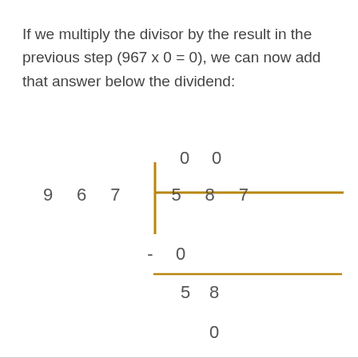If we multiply the divisor by the result in the previous step (967 x 0 = 0), we can now add that answer below the dividend:
[Figure (math-figure): Long division layout showing 587 divided by 967. Quotient digits 0 0 shown above. Divisor 9 6 7 on left with bracket. Dividend 5 8 7 inside bracket. Subtraction of 0 below first digit, horizontal line, remainder 5 8, then bring-down digit 0.]